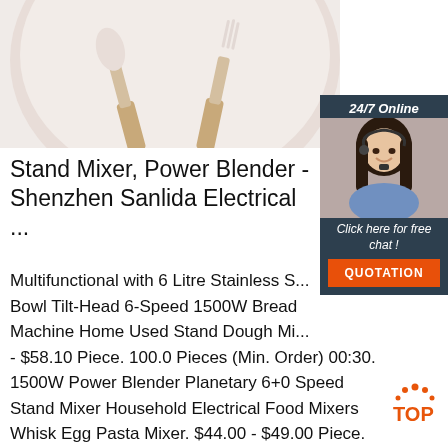[Figure (photo): Kitchen utensils — spatula and fork with wooden handles resting in a pale pink/beige bowl, viewed from above, white background]
[Figure (infographic): 24/7 Online chat widget showing a customer service representative woman with headset, with 'Click here for free chat!' text and an orange QUOTATION button]
Stand Mixer, Power Blender - Shenzhen Sanlida Electrical ...
Multifunctional with 6 Litre Stainless S... Bowl Tilt-Head 6-Speed 1500W Bread Machine Home Used Stand Dough Mi... - $58.10 Piece. 100.0 Pieces (Min. Order) 00:30. 1500W Power Blender Planetary 6+0 Speed Stand Mixer Household Electrical Food Mixers Whisk Egg Pasta Mixer. $44.00 - $49.00 Piece.
[Figure (logo): TOP badge logo — orange dots arranged in arc above orange TOP text]